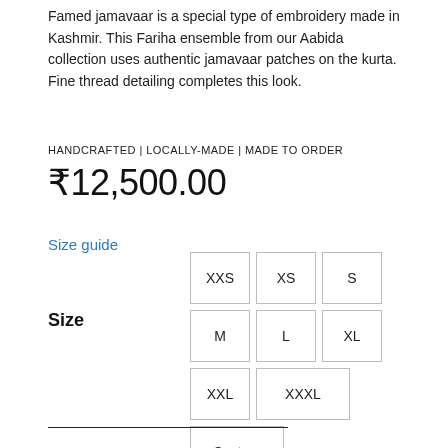Famed jamavaar is a special type of embroidery made in Kashmir. This Fariha ensemble from our Aabida collection uses authentic jamavaar patches on the kurta. Fine thread detailing completes this look.
HANDCRAFTED | LOCALLY-MADE | MADE TO ORDER
₹12,500.00
Size guide
Size
XXS
XS
S
M
L
XL
XXL
XXXL
Custom